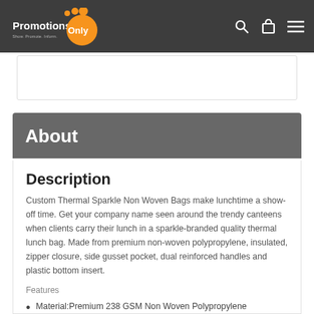PromotionsOnly
[Figure (screenshot): White product image placeholder box]
About
Description
Custom Thermal Sparkle Non Woven Bags make lunchtime a show-off time. Get your company name seen around the trendy canteens when clients carry their lunch in a sparkle-branded quality thermal lunch bag. Made from premium non-woven polypropylene, insulated, zipper closure, side gusset pocket, dual reinforced handles and plastic bottom insert.
Features
Material:Premium 238 GSM Non Woven Polypropylene
Insulated Lunch Style Tote Bag